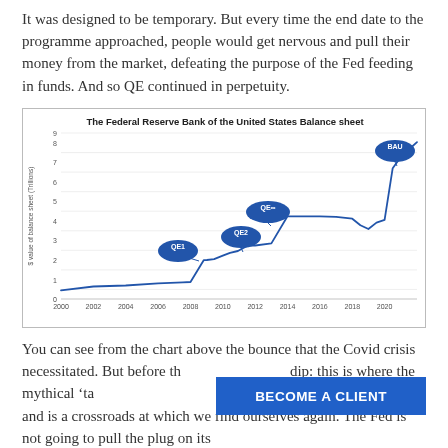It was designed to be temporary. But every time the end date to the programme approached, people would get nervous and pull their money from the market, defeating the purpose of the Fed feeding in funds. And so QE continued in perpetuity.
[Figure (continuous-plot): Line chart showing the Fed balance sheet growing from ~$0.5T in 2000, jumping to ~$2T in 2009 (QE1), rising to ~$3T (QE2), ~$4.5T (QE∞), plateauing until 2018, dipping slightly, then spiking to ~$8.5T by 2021 (BAU label). Annotations: QE1, QE2, QE∞, BAU.]
You can see from the chart above the bounce that the Covid crisis necessitated. But before th... dip: this is where the mythical 'ta... a moment in time, sustained—and is a crossroads at which we find ourselves again. The Fed is not going to pull the plug on its